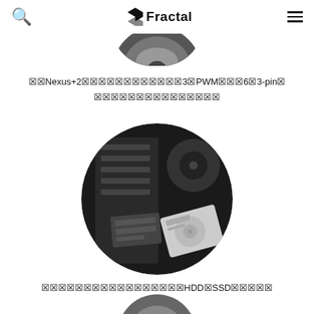🔍  ⚡ Fractal  ☰
[Figure (photo): Top half of a circular product photo partially visible at the top of the page, showing a dark rounded object]
※※Nexus+2※※※※※※※※※※※※3※PWM※※※6※3-pin※※※※※※※※※※※※※※※※
[Figure (photo): Circular black and white photo showing a computer case interior with HDD and SSD drives being installed in drive bays]
※※※※※※※※※※※※※※※※※HDD※SSD※※※※※※
[Figure (photo): Bottom portion of another circular product photo partially visible at the bottom of the page]